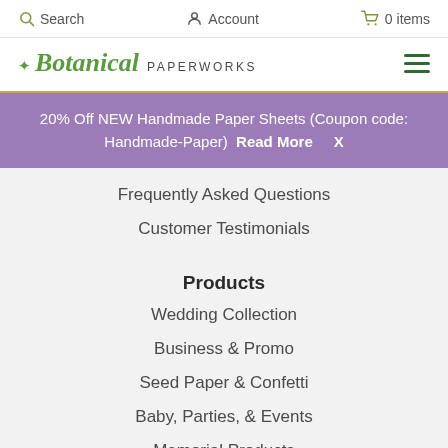Search  Account  0 items
Botanical PAPERWORKS
20% Off NEW Handmade Paper Sheets (Coupon code: Handmade-Paper)  Read More  X
Frequently Asked Questions
Customer Testimonials
Products
Wedding Collection
Business & Promo
Seed Paper & Confetti
Baby, Parties, & Events
Memorial Products
Sustainable Eco Packaging
Handmade Soaps